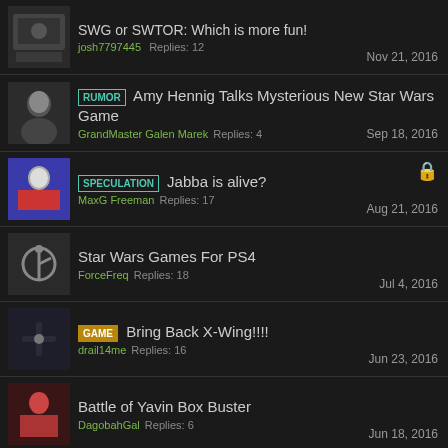SWG or SWTOR: Which is more fun? | josh7797445 | Replies: 12 | Nov 21, 2016
[RUMOR] Amy Hennig Talks Mysterious New Star Wars Game | GrandMaster Galen Marek | Replies: 4 | Sep 18, 2016
[SPECULATION] Jabba is alive? | MaxG Freeman | Replies: 17 | Aug 21, 2016
Star Wars Games For PS4 | ForceFreq | Replies: 18 | Jul 4, 2016
[GAME] Bring Back X-Wing!!!! | drail14me | Replies: 16 | Jun 23, 2016
Battle of Yavin Box Buster | DagobahGal | Replies: 6 | Jun 18, 2016
Any Love here for the old swg ? | KOJI | Replies: 1 | Jun 1, 2016
New-Gen Look at the Canceled Darth Maul Game | ShadeMcCray | Replies: 14 | May 31, 2016
SWTOR Cantina Guild | x6